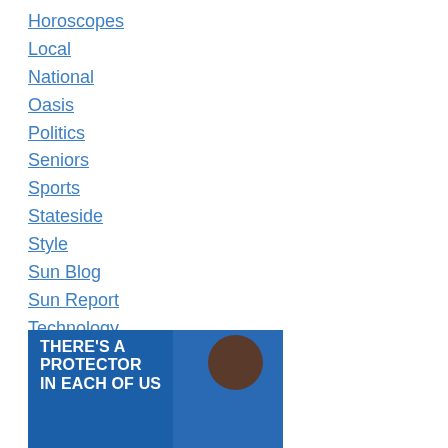Horoscopes
Local
National
Oasis
Politics
Seniors
Sports
Stateside
Style
Sun Blog
Sun Report
Technology
Travel
Week In Review
[Figure (photo): Advertisement with a woman's portrait on a blue background and text reading 'THERE'S A PROTECTOR IN EACH OF US']